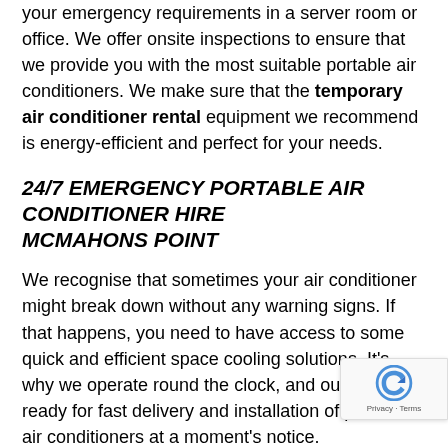your emergency requirements in a server room or office. We offer onsite inspections to ensure that we provide you with the most suitable portable air conditioners. We make sure that the temporary air conditioner rental equipment we recommend is energy-efficient and perfect for your needs.
24/7 EMERGENCY PORTABLE AIR CONDITIONER HIRE MCMAHONS POINT
We recognise that sometimes your air conditioner might break down without any warning signs. If that happens, you need to have access to some quick and efficient space cooling solutions. It's why we operate round the clock, and our team is ready for fast delivery and installation of portable air conditioners at a moment's notice.
Our rapid response has also helped prevent system